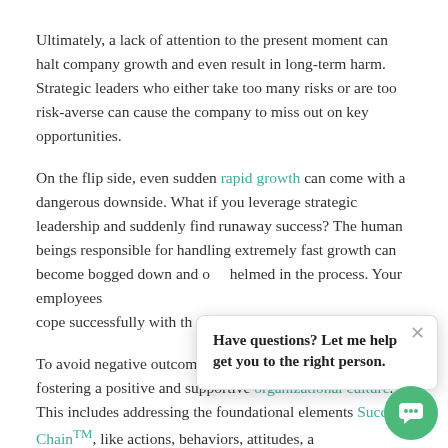Ultimately, a lack of attention to the present moment can halt company growth and even result in long-term harm. Strategic leaders who either take too many risks or are too risk-averse can cause the company to miss out on key opportunities.
On the flip side, even sudden rapid growth can come with a dangerous downside. What if you leverage strategic leadership and suddenly find runaway success? The human beings responsible for handling extremely fast growth can become bogged down and overwhelmed in the process. Your employees cope successfully with th...
To avoid negative outcomes, fostering a positive and supportive organizational culture. This includes addressing the foundational elements Success Chain™, like actions, behaviors, attitudes, and habits of thought.
[Figure (other): Chat popup widget with LIR logo watermark, close button (×), and message 'Have questions? Let me help get you to the right person.' with a green circular chat button at bottom right.]